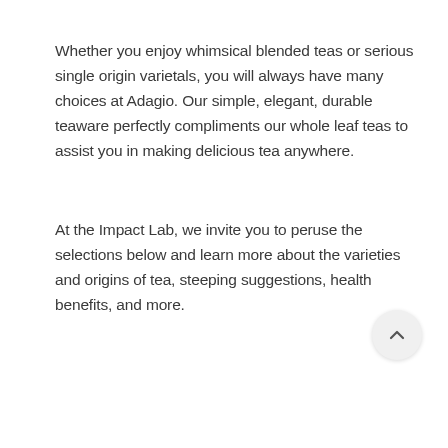Whether you enjoy whimsical blended teas or serious single origin varietals, you will always have many choices at Adagio. Our simple, elegant, durable teaware perfectly compliments our whole leaf teas to assist you in making delicious tea anywhere.
At the Impact Lab, we invite you to peruse the selections below and learn more about the varieties and origins of tea, steeping suggestions, health benefits, and more.
[Figure (other): Scroll-to-top button: a circular light grey button with an upward-pointing chevron arrow in the bottom-right area of the page.]